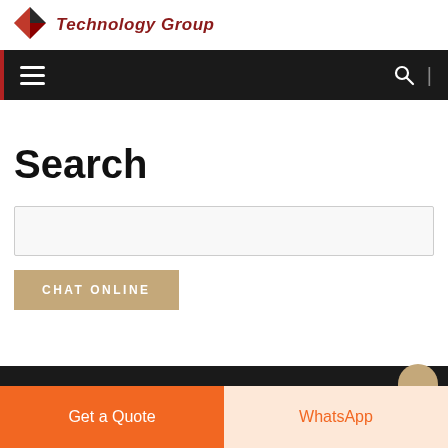[Figure (logo): Diamond-shaped logo icon with red and dark segments next to 'Technology Group' text in dark red]
Technology Group
[Figure (screenshot): Dark navigation bar with hamburger menu icon on left and search icon with vertical divider on right]
Search
[Figure (screenshot): Empty search input box with light border]
[Figure (screenshot): CHAT ONLINE button in tan/khaki color]
[Figure (screenshot): Bottom bar with Get a Quote orange button and WhatsApp button in light orange]